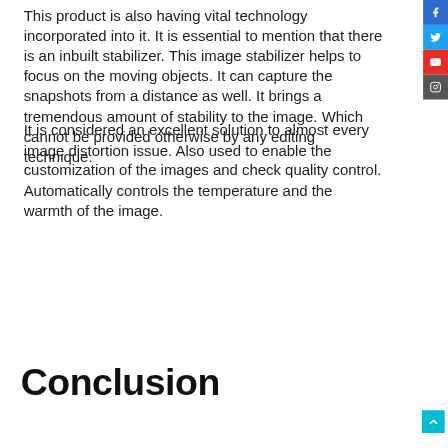This product is also having vital technology incorporated into it. It is essential to mention that there is an inbuilt stabilizer. This image stabilizer helps to focus on the moving objects. It can capture the snapshots from a distance as well. It brings a tremendous amount of stability to the image. Which cannot be provided otherwise by any editing technique.
It is considered an excellent solution to almost every image distortion issue. Also used to enable the customization of the images and check quality control. Automatically controls the temperature and the warmth of the image.
Conclusion